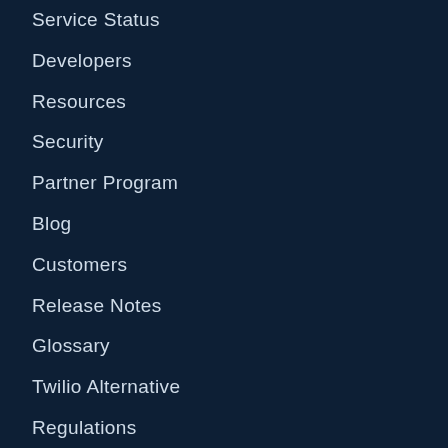Service Status
Developers
Resources
Security
Partner Program
Blog
Customers
Release Notes
Glossary
Twilio Alternative
Regulations
Coverage
LET'S CHAT
Have a support question? Want to add SMS to your app? Need to talk to legal? Have a great minestrone soup